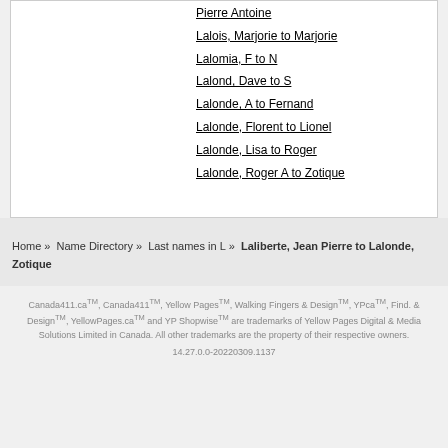Pierre Antoine
Lalois, Marjorie to Marjorie
Lalomia, F to N
Lalond, Dave to S
Lalonde, A to Fernand
Lalonde, Florent to Lionel
Lalonde, Lisa to Roger
Lalonde, Roger A to Zotique
Home » Name Directory » Last names in L » Laliberte, Jean Pierre to Lalonde, Zotique
Canada411.ca™, Canada411™, Yellow Pages™, Walking Fingers & Design™, YPca™, Find. & Design™, YellowPages.ca™ and YP Shopwise™ are trademarks of Yellow Pages Digital & Media Solutions Limited in Canada. All other trademarks are the property of their respective owners. 14.27.0.0-20220309.1137